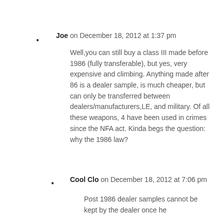Joe on December 18, 2012 at 1:37 pm
Well,you can still buy a class III made before 1986 (fully transferable), but yes, very expensive and climbing. Anything made after 86 is a dealer sample, is much cheaper, but can only be transferred between dealers/manufacturers,LE, and military. Of all these weapons, 4 have been used in crimes since the NFA act. Kinda begs the question: why the 1986 law?
Cool Clo on December 18, 2012 at 7:06 pm
Post 1986 dealer samples cannot be kept by the dealer once he...